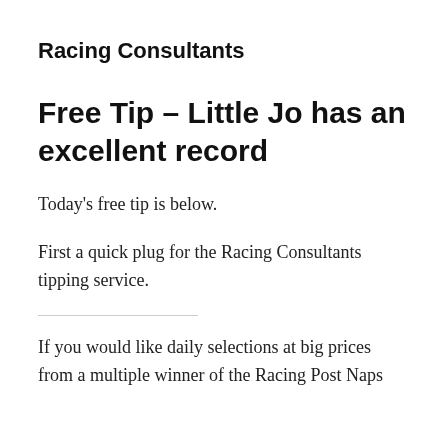Racing Consultants
Free Tip – Little Jo has an excellent record
Today's free tip is below.
First a quick plug for the Racing Consultants tipping service.
If you would like daily selections at big prices from a multiple winner of the Racing Post Naps